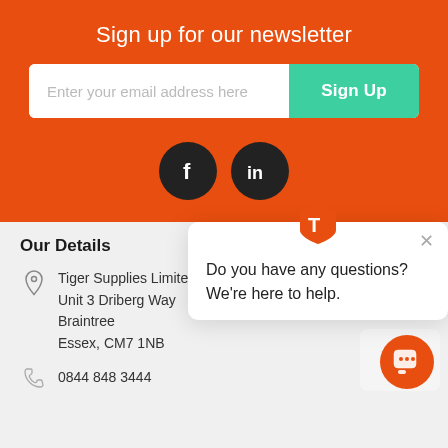Sign up for our newsletter
Enter your email address here
Sign Up
[Figure (logo): Facebook and LinkedIn social media icons (dark circles with f and in symbols)]
Our Details
Tiger Supplies Limited
Unit 3 Driberg Way
Braintree
Essex, CM7 1NB
0844 848 3444
[Figure (screenshot): Chat popup overlay with Tiger Supplies shield logo, X close button, text 'Do you have any questions? We're here to help.' and orange chat FAB button]